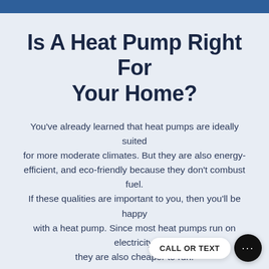Is A Heat Pump Right For Your Home?
You've already learned that heat pumps are ideally suited for more moderate climates. But they are also energy-efficient, and eco-friendly because they don't combust fuel. If these qualities are important to you, then you'll be happy with a heat pump. Since most heat pumps run on electricity, they are also cheaper to run.
If you want to heat and cool your home, if you want to lower your energy bill, and if you want to also help the planet, a heat pump is the way to go.